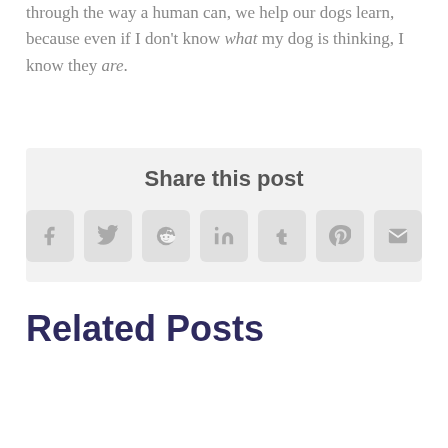through the way a human can, we help our dogs learn, because even if I don't know what my dog is thinking, I know they are.
Share this post
[Figure (infographic): Social share buttons: Facebook, Twitter, Reddit, LinkedIn, Tumblr, Pinterest, Email]
Related Posts